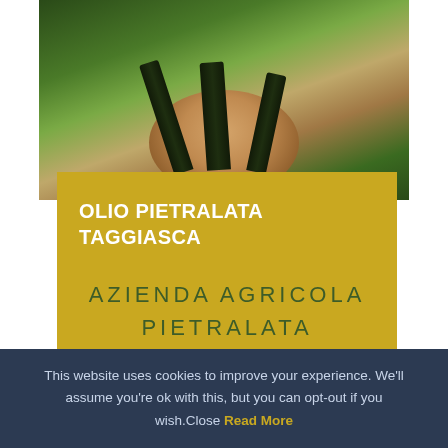[Figure (photo): Three dark green olive oil bottles (Pietralata brand) arranged on a wooden tree stump, surrounded by green grass and plants]
OLIO PIETRALATA TAGGIASCA
AZIENDA AGRICOLA PIETRALATA
This website uses cookies to improve your experience. We'll assume you're ok with this, but you can opt-out if you wish. Close  Read More